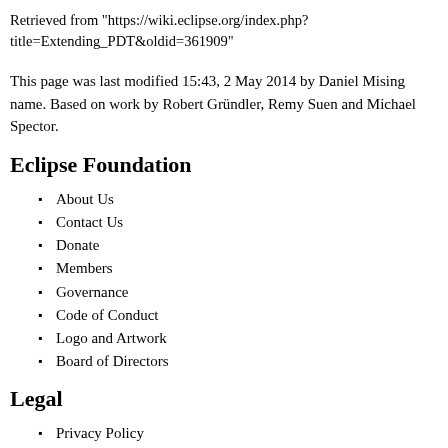Retrieved from "https://wiki.eclipse.org/index.php?title=Extending_PDT&oldid=361909"
This page was last modified 15:43, 2 May 2014 by Daniel Mising name. Based on work by Robert Gründler, Remy Suen and Michael Spector.
Eclipse Foundation
About Us
Contact Us
Donate
Members
Governance
Code of Conduct
Logo and Artwork
Board of Directors
Legal
Privacy Policy